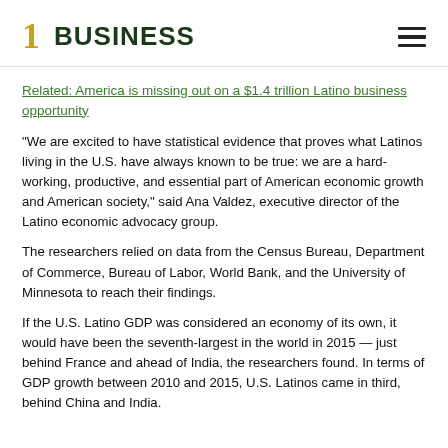1 BUSINESS
Related: America is missing out on a $1.4 trillion Latino business opportunity
“We are excited to have statistical evidence that proves what Latinos living in the U.S. have always known to be true: we are a hard-working, productive, and essential part of American economic growth and American society,” said Ana Valdez, executive director of the Latino economic advocacy group.
The researchers relied on data from the Census Bureau, Department of Commerce, Bureau of Labor, World Bank, and the University of Minnesota to reach their findings.
If the U.S. Latino GDP was considered an economy of its own, it would have been the seventh-largest in the world in 2015 — just behind France and ahead of India, the researchers found. In terms of GDP growth between 2010 and 2015, U.S. Latinos came in third, behind China and India.